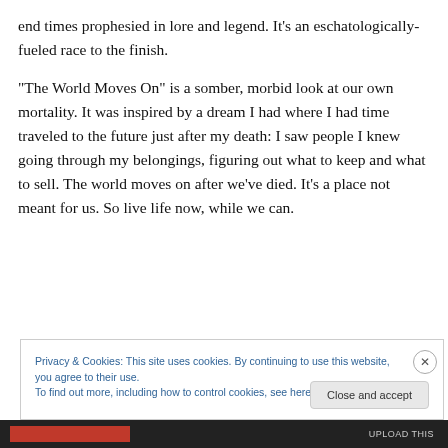end times prophesied in lore and legend. It’s an eschatologically-fueled race to the finish.
“The World Moves On” is a somber, morbid look at our own mortality. It was inspired by a dream I had where I had time traveled to the future just after my death: I saw people I knew going through my belongings, figuring out what to keep and what to sell. The world moves on after we’ve died. It’s a place not meant for us. So live life now, while we can.
Privacy & Cookies: This site uses cookies. By continuing to use this website, you agree to their use.
To find out more, including how to control cookies, see here: Cookie Policy